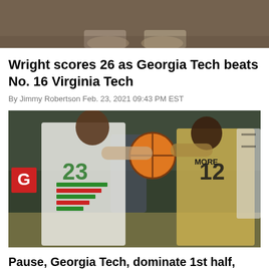[Figure (photo): Cropped top portion of a basketball game photo showing players' lower bodies/feet]
Wright scores 26 as Georgia Tech beats No. 16 Virginia Tech
By Jimmy Robertson Feb. 23, 2021 09:43 PM EST
[Figure (photo): Basketball players fighting for possession of the ball. Player in white Miami uniform number 23 contests against Georgia Tech player number 12 Moore in gold uniform. A referee and coach are visible in the background.]
Pause, Georgia Tech, dominate 1st half, swamp Miami